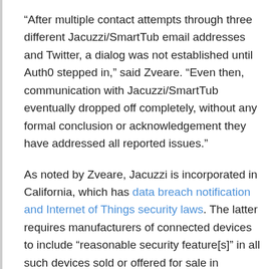“After multiple contact attempts through three different Jacuzzi/SmartTub email addresses and Twitter, a dialog was not established until Auth0 stepped in,” said Zveare. “Even then, communication with Jacuzzi/SmartTub eventually dropped off completely, without any formal conclusion or acknowledgement they have addressed all reported issues.”
As noted by Zveare, Jacuzzi is incorporated in California, which has data breach notification and Internet of Things security laws. The latter requires manufacturers of connected devices to include “reasonable security feature[s]” in all such devices sold or offered for sale in California, specifically those devices capable of